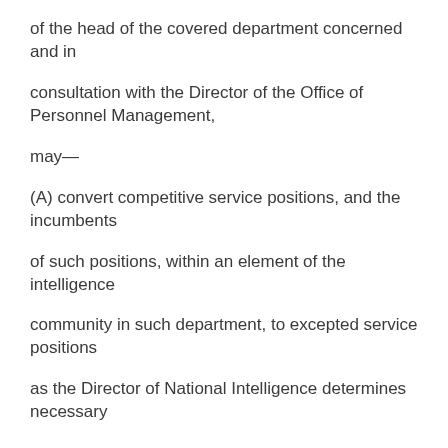of the head of the covered department concerned and in
consultation with the Director of the Office of Personnel Management,
may—
(A) convert competitive service positions, and the incumbents
of such positions, within an element of the intelligence
community in such department, to excepted service positions
as the Director of National Intelligence determines necessary